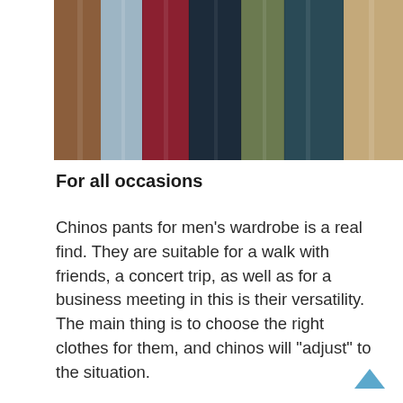[Figure (photo): A row of neatly folded pants/chinos in various colors including brown, light blue/grey, dark red/maroon, dark navy, olive/green, dark teal, and khaki/tan, arranged vertically side by side.]
For all occasions
Chinos pants for men’s wardrobe is a real find. They are suitable for a walk with friends, a concert trip, as well as for a business meeting in this is their versatility. The main thing is to choose the right clothes for them, and chinos will “adjust” to the situation.